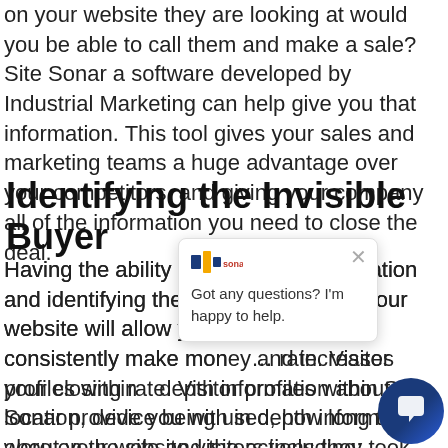on your website they are looking at would you be able to call them and make a sale? Site Sonar a software developed by Industrial Marketing can help give you that information. This tool gives your sales and marketing teams a huge advantage over your competitors, and giving your company all of the information you need to close the deal.
Identifying the Invisible Buyer
Having the ability to obtain this information and identifying the invisible buyer on your website will allow your company to consistently make money and increases your closing rate. Visitor profiles within Site Sonar provide you with in depth information about your website visitors including: location, device being used, how long they were on the site and the actions they took, as well as the company they are coming from. There's no need to spend any more money on marketing to bring in new customers if you already have
[Figure (other): Chat widget overlay showing a logo, close button (×), and message 'Got any questions? I'm happy to help.' with a dark blue circular chat button icon at bottom right.]